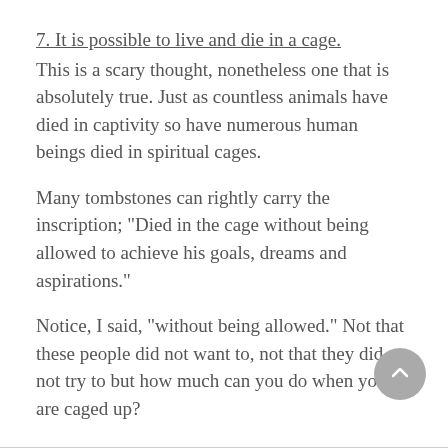7. It is possible to live and die in a cage.
This is a scary thought, nonetheless one that is absolutely true. Just as countless animals have died in captivity so have numerous human beings died in spiritual cages.
Many tombstones can rightly carry the inscription; "Died in the cage without being allowed to achieve his goals, dreams and aspirations."
Notice, I said, "without being allowed." Not that these people did not want to, not that they did not try to but how much can you do when you are caged up?